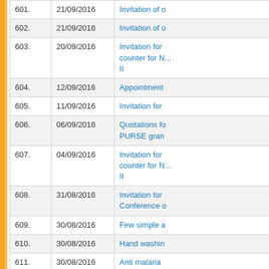| No. | Date | Title |
| --- | --- | --- |
| 601. | 21/09/2016 | Invitation of o... |
| 602. | 21/09/2016 | Invitation of o... |
| 603. | 20/09/2016 | Invitation for ... counter for N... II |
| 604. | 12/09/2016 | Appointment... |
| 605. | 11/09/2016 | Invitation for... |
| 606. | 06/09/2016 | Quotations fo... PURSE gran... |
| 607. | 04/09/2016 | Invitation for ... counter for N... II |
| 608. | 31/08/2016 | Invitation for ... Conference o... |
| 609. | 30/08/2016 | Few simple a... |
| 610. | 30/08/2016 | Hand washin... |
| 611. | 30/08/2016 | Anti malaria ... |
| 612. | 24/08/2016 | Branch Slidi... |
| 613. | 11/08/2016 | Invitation lett... |
| 614. | 11/08/2016 | Invitation lett... |